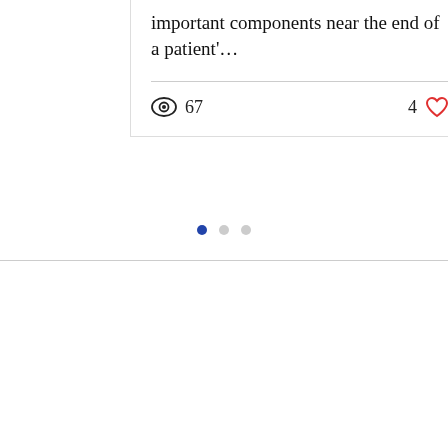important components near the end of a patient'...
67 views, 4 likes
[Figure (other): Pagination dots: one blue (active), two gray (inactive)]